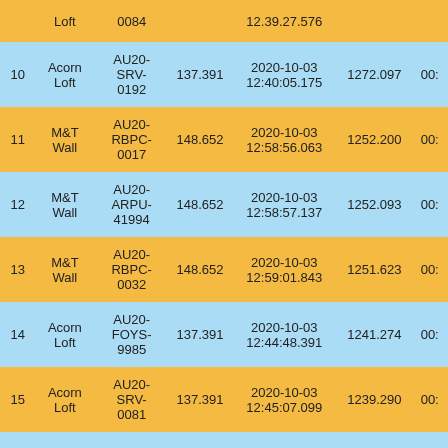| # | Location | Device ID | Value | Timestamp | Col6 | Col7 |
| --- | --- | --- | --- | --- | --- | --- |
|  | Loft | 0084 |  | 12:39:27.576 |  |  |
| 10 | Acorn Loft | AU20-SRV-0192 | 137.391 | 2020-10-03 12:40:05.175 | 1272.097 | 00: |
| 11 | M&T Wall | AU20-RBPC-0017 | 148.652 | 2020-10-03 12:58:56.063 | 1252.200 | 00: |
| 12 | M&T Wall | AU20-ARPU-41994 | 148.652 | 2020-10-03 12:58:57.137 | 1252.093 | 00: |
| 13 | M&T Wall | AU20-RBPC-0032 | 148.652 | 2020-10-03 12:59:01.843 | 1251.623 | 00: |
| 14 | Acorn Loft | AU20-FOYS-9985 | 137.391 | 2020-10-03 12:44:48.391 | 1241.274 | 00: |
| 15 | Acorn Loft | AU20-SRV-0081 | 137.391 | 2020-10-03 12:45:07.099 | 1239.290 | 00: |